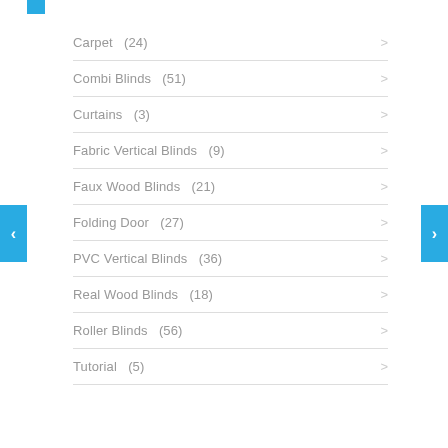Carpet (24)
Combi Blinds (51)
Curtains (3)
Fabric Vertical Blinds (9)
Faux Wood Blinds (21)
Folding Door (27)
PVC Vertical Blinds (36)
Real Wood Blinds (18)
Roller Blinds (56)
Tutorial (5)